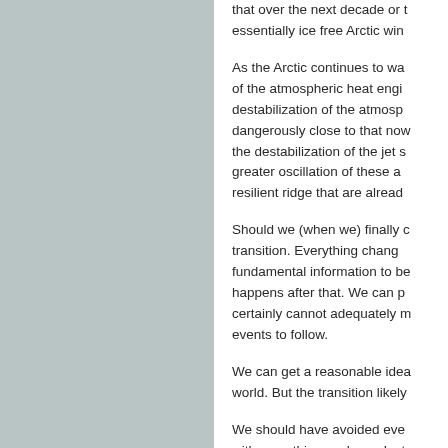that over the next decade or two we will have an essentially ice free Arctic win...
As the Arctic continues to warm, the destabilization of the atmospheric heat engine, the destabilization of the atmosphere dangerously close to that now, and the destabilization of the jet stream, greater oscillation of these and resilient ridge that are already...
Should we (when we) finally complete this transition. Everything changes — fundamental information to be had about what happens after that. We can p... certainly cannot adequately m... events to follow.
We can get a reasonable idea... world. But the transition likely...
We should have avoided eve... with everything we have. Inst... recognize and accept the co... our way there at breakneck s...